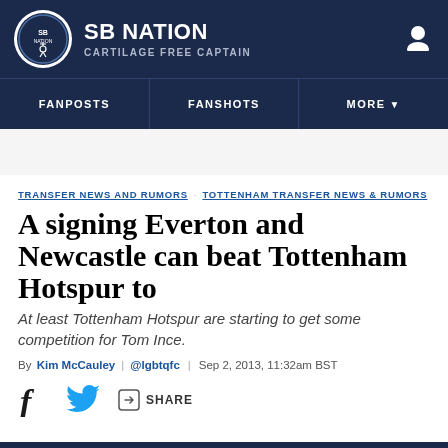SB NATION | CARTILAGE FREE CAPTAIN
FANPOSTS | FANSHOTS | MORE
TRANSFER NEWS AND RUMORS  TOTTENHAM TRANSFER NEWS & RUMORS
A signing Everton and Newcastle can beat Tottenham Hotspur to
At least Tottenham Hotspur are starting to get some competition for Tom Ince.
By Kim McCauley | @lgbtqfc | Sep 2, 2013, 11:32am BST
SHARE